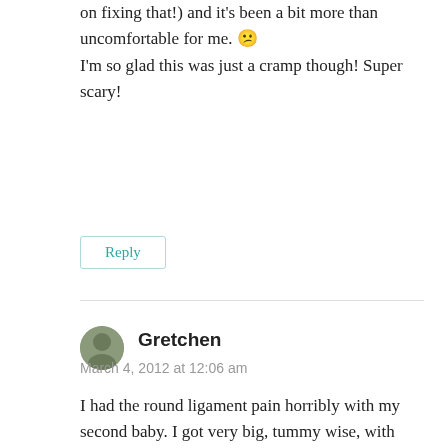on fixing that!) and it's been a bit more than uncomfortable for me. 😕 I'm so glad this was just a cramp though! Super scary!
Reply
Gretchen
March 4, 2012 at 12:06 am
I had the round ligament pain horribly with my second baby. I got very big, tummy wise, with both of my girls (they were over 9 pounds each!) so the second time around just hurt a little more. I had also had a c-section and